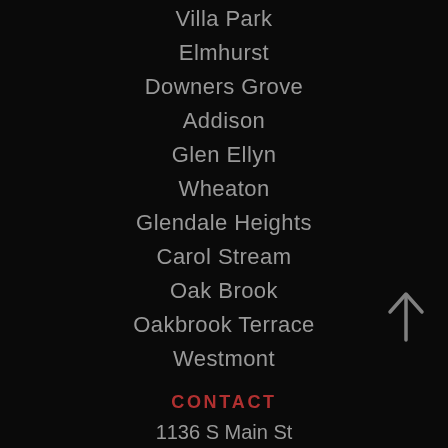Villa Park
Elmhurst
Downers Grove
Addison
Glen Ellyn
Wheaton
Glendale Heights
Carol Stream
Oak Brook
Oakbrook Terrace
Westmont
CONTACT
1136 S Main St